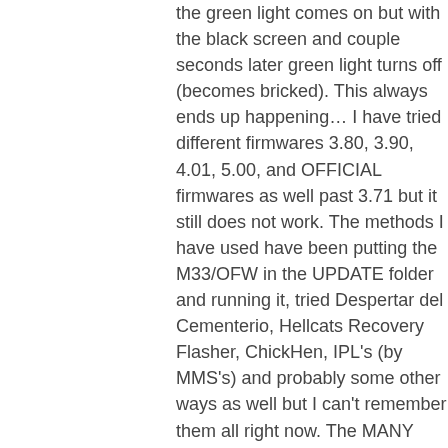the green light comes on but with the black screen and couple seconds later green light turns off (becomes bricked). This always ends up happening… I have tried different firmwares 3.80, 3.90, 4.01, 5.00, and OFFICIAL firmwares as well past 3.71 but it still does not work. The methods I have used have been putting the M33/OFW in the UPDATE folder and running it, tried Despertar del Cementerio, Hellcats Recovery Flasher, ChickHen, IPL's (by MMS's) and probably some other ways as well but I can't remember them all right now. The MANY times my PSP has bricked trying to upgrade my firmware I tried different IPL's from Magic Memory Stick Creators and only 1 really works on my PSP. I have tried